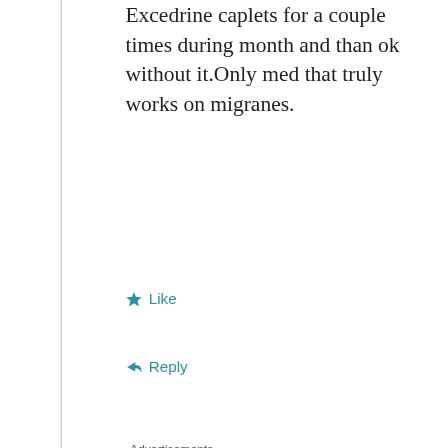Excedrine caplets for a couple times during month and than ok without it.Only med that truly works on migranes.
★ Like
↪ Reply
Advertisements
[Figure (logo): AUTOMATTIC logo with circle-O in the middle and tagline: Build a better web and a better world.]
REPORT THIS AD
Privacy & Cookies: This site uses cookies. By continuing to use this website, you agree to their use.
To find out more, including how to control cookies, see here: Cookie Policy
Close and accept